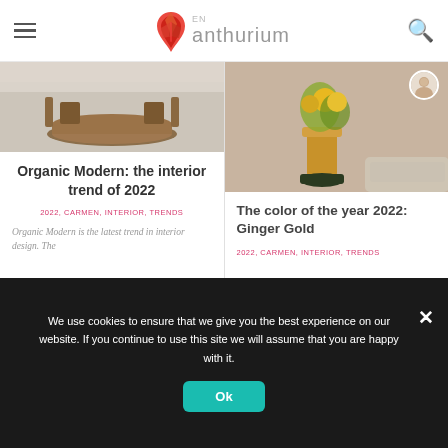anthurium (EN) — navigation header with hamburger menu and search icon
[Figure (photo): Photo of a round wooden table in a neutral interior]
Organic Modern: the interior trend of 2022
2022, CARMEN, INTERIOR, TRENDS
Organic Modern is the latest trend in interior design. The
[Figure (photo): Photo of a yellow vase with flowers (sunflowers and greenery) against a tan wall, with a circular avatar photo of a woman in the top right]
The color of the year 2022: Ginger Gold
2022, CARMEN, INTERIOR, TRENDS
We use cookies to ensure that we give you the best experience on our website. If you continue to use this site we will assume that you are happy with it.